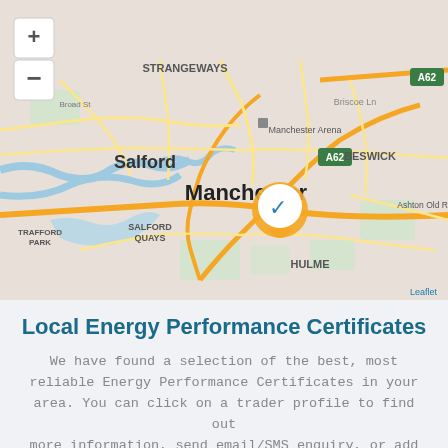[Figure (map): Leaflet interactive map centered on Manchester city center showing surrounding areas including Salford, Strangeways, Beswick, Salford Quays, Trafford Park, Hulme, and Ashton Old Road. Road network including A62 visible. Orange circular location marker with blue checkmark placed at Manchester center. Map zoom controls (+/-) visible top-left.]
Local Energy Performance Certificates
We have found a selection of the best, most reliable Energy Performance Certificates in your area. You can click on a trader profile to find out more information, send email/SMS enquiry, or add them to your call back list.